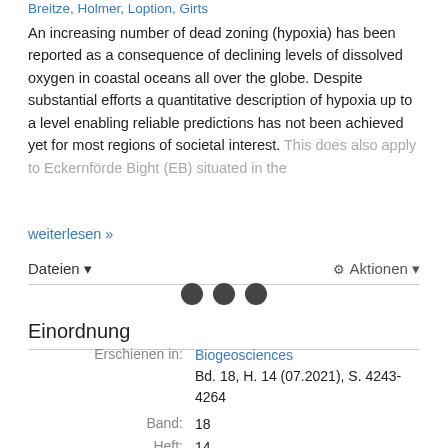Breitze, Holmer, Loption, Girts
An increasing number of dead zoning (hypoxia) has been reported as a consequence of declining levels of dissolved oxygen in coastal oceans all over the globe. Despite substantial efforts a quantitative description of hypoxia up to a level enabling reliable predictions has not been achieved yet for most regions of societal interest. This does also apply to Eckernförde Bight (EB) situated in the...
weiterlesen »
Einordnung
| Label | Value |
| --- | --- |
| Erschienen in: | Biogeosciences
Bd. 18, H. 14 (07.2021), S. 4243-4264 |
| Band: | 18 |
| Heft: | 14 |
| Erscheinungsdatum: | 07.2021 |